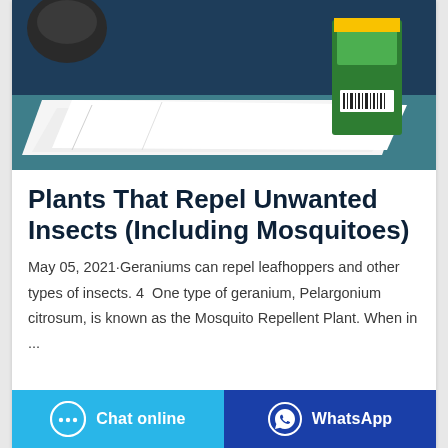[Figure (photo): Photo showing white fabric/cloth laid on a teal surface with a green mosquito repellent coil box visible in the background against a dark blue background.]
Plants That Repel Unwanted Insects (Including Mosquitoes)
May 05, 2021·Geraniums can repel leafhoppers and other types of insects. 4  One type of geranium, Pelargonium citrosum, is known as the Mosquito Repellent Plant. When in ...